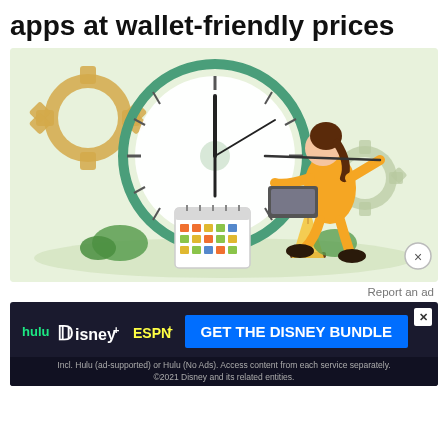apps at wallet-friendly prices
[Figure (illustration): Illustration of a woman in yellow outfit sitting on an hourglass, working on a laptop in front of a large clock with gear/cog decorations and a calendar, on a light green background]
Report an ad
[Figure (other): Disney Bundle advertisement banner featuring Hulu, Disney+, and ESPN+ logos with 'GET THE DISNEY BUNDLE' call to action button and fine print about ad-supported service]